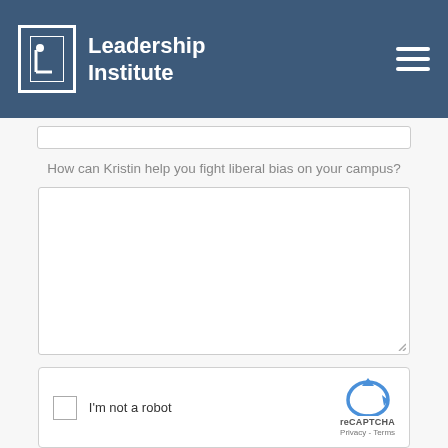Leadership Institute
How can Kristin help you fight liberal bias on your campus?
[Figure (other): Large empty textarea form field for user input]
[Figure (other): reCAPTCHA widget with checkbox labeled I'm not a robot, showing reCAPTCHA logo, Privacy and Terms links]